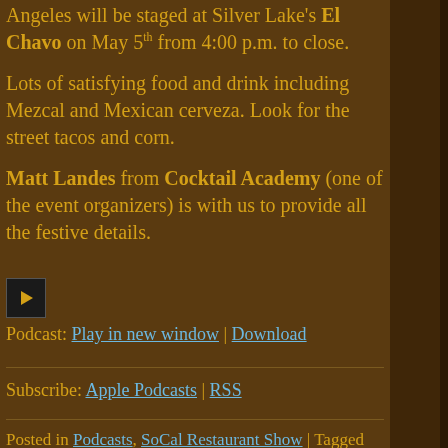Angeles will be staged at Silver Lake's El Chavo on May 5th from 4:00 p.m. to close.
Lots of satisfying food and drink including Mezcal and Mexican cerveza. Look for the street tacos and corn.
Matt Landes from Cocktail Academy (one of the event organizers) is with us to provide all the festive details.
[Figure (other): Audio play button control]
Podcast: Play in new window | Download
Subscribe: Apple Podcasts | RSS
Posted in Podcasts, SoCal Restaurant Show | Tagged cerveza, Cinco de Mayo, Cocktail Academy, corn, El